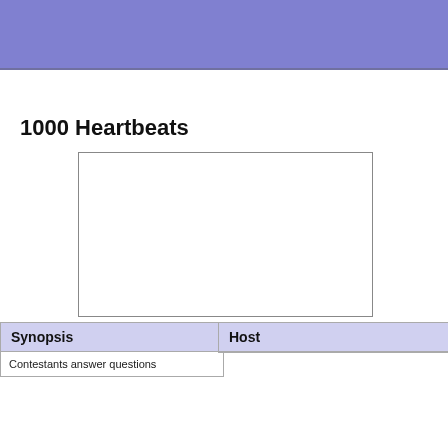1000 Heartbeats
[Figure (photo): Empty white rectangular placeholder image with a thin grey border]
| Synopsis |
| --- |
| Contestants answer questions |
| Host |
| --- |
|  |